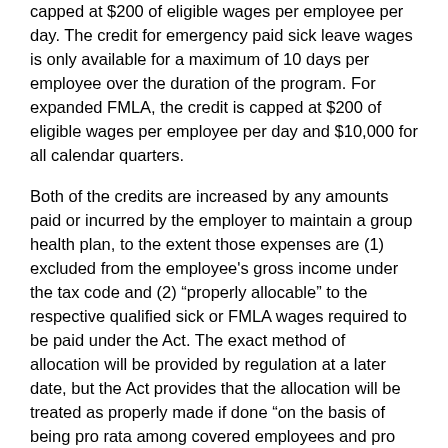capped at $200 of eligible wages per employee per day. The credit for emergency paid sick leave wages is only available for a maximum of 10 days per employee over the duration of the program. For expanded FMLA, the credit is capped at $200 of eligible wages per employee per day and $10,000 for all calendar quarters.
Both of the credits are increased by any amounts paid or incurred by the employer to maintain a group health plan, to the extent those expenses are (1) excluded from the employee's gross income under the tax code and (2) “properly allocable” to the respective qualified sick or FMLA wages required to be paid under the Act. The exact method of allocation will be provided by regulation at a later date, but the Act provides that the allocation will be treated as properly made if done “on the basis of being pro rata among covered employees and pro rata on the basis of periods of coverage.”
If the credit exceeds the employer’s total liability for Social